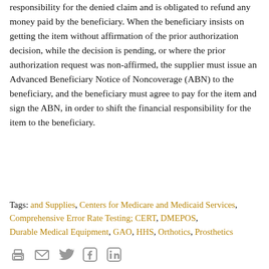responsibility for the denied claim and is obligated to refund any money paid by the beneficiary. When the beneficiary insists on getting the item without affirmation of the prior authorization decision, while the decision is pending, or where the prior authorization request was non-affirmed, the supplier must issue an Advanced Beneficiary Notice of Noncoverage (ABN) to the beneficiary, and the beneficiary must agree to pay for the item and sign the ABN, in order to shift the financial responsibility for the item to the beneficiary.
Tags: and Supplies, Centers for Medicare and Medicaid Services, Comprehensive Error Rate Testing; CERT, DMEPOS, Durable Medical Equipment, GAO, HHS, Orthotics, Prosthetics